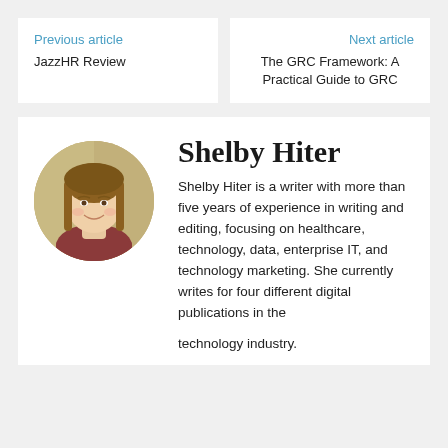Previous article
JazzHR Review
Next article
The GRC Framework: A Practical Guide to GRC
[Figure (photo): Circular profile photo of Shelby Hiter, a young woman with long brown hair wearing a dark red top, smiling.]
Shelby Hiter
Shelby Hiter is a writer with more than five years of experience in writing and editing, focusing on healthcare, technology, data, enterprise IT, and technology marketing. She currently writes for four different digital publications in the technology industry.